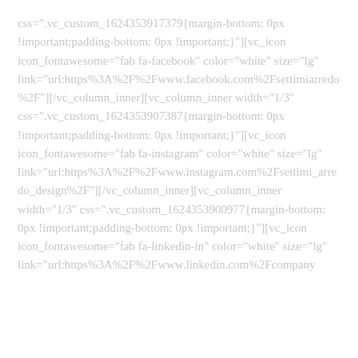css=".vc_custom_1624353917379{margin-bottom: 0px !important;padding-bottom: 0px !important;}"][vc_icon icon_fontawesome="fab fa-facebook" color="white" size="lg" link="url:https%3A%2F%2Fwww.facebook.com%2Fsettimiarredo%2F"][/vc_column_inner][vc_column_inner width="1/3" css=".vc_custom_1624353907387{margin-bottom: 0px !important;padding-bottom: 0px !important;}"][vc_icon icon_fontawesome="fab fa-instagram" color="white" size="lg" link="url:https%3A%2F%2Fwww.instagram.com%2Fsettimi_arredo_design%2F"][/vc_column_inner][vc_column_inner width="1/3" css=".vc_custom_1624353900977{margin-bottom: 0px !important;padding-bottom: 0px !important;}"][vc_icon icon_fontawesome="fab fa-linkedin-in" color="white" size="lg" link="url:https%3A%2F%2Fwww.linkedin.com%2Fcompany